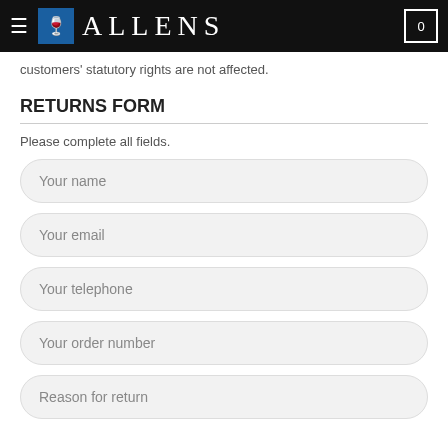ALLENS
customers' statutory rights are not affected.
RETURNS FORM
Please complete all fields.
Your name
Your email
Your telephone
Your order number
Reason for return